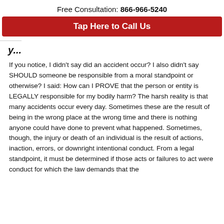Free Consultation: 866-966-5240
Tap Here to Call Us
y...
If you notice, I didn't say did an accident occur? I also didn't say SHOULD someone be responsible from a moral standpoint or otherwise? I said: How can I PROVE that the person or entity is LEGALLY responsible for my bodily harm? The harsh reality is that many accidents occur every day. Sometimes these are the result of being in the wrong place at the wrong time and there is nothing anyone could have done to prevent what happened. Sometimes, though, the injury or death of an individual is the result of actions, inaction, errors, or downright intentional conduct. From a legal standpoint, it must be determined if those acts or failures to act were conduct for which the law demands that the...